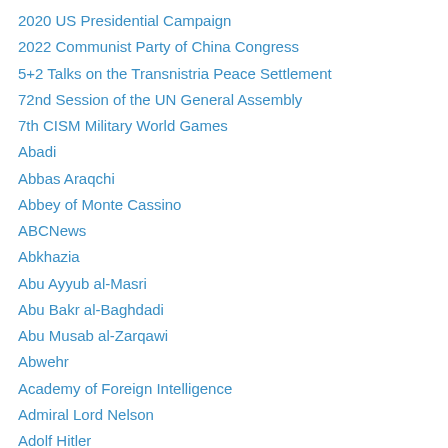2020 US Presidential Campaign
2022 Communist Party of China Congress
5+2 Talks on the Transnistria Peace Settlement
72nd Session of the UN General Assembly
7th CISM Military World Games
Abadi
Abbas Araqchi
Abbey of Monte Cassino
ABCNews
Abkhazia
Abu Ayyub al-Masri
Abu Bakr al-Baghdadi
Abu Musab al-Zarqawi
Abwehr
Academy of Foreign Intelligence
Admiral Lord Nelson
Adolf Hitler
ADST
Aeschylus
Afghan Shi'a Liwa al-Fatimiyoun